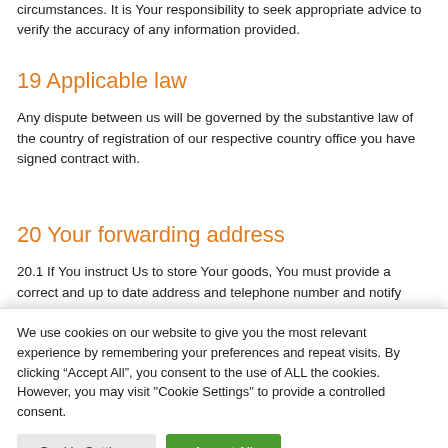circumstances. It is Your responsibility to seek appropriate advice to verify the accuracy of any information provided.
19 Applicable law
Any dispute between us will be governed by the substantive law of the country of registration of our respective country office you have signed contract with.
20 Your forwarding address
20.1 If You instruct Us to store Your goods, You must provide a correct and up to date address and telephone number and notify
We use cookies on our website to give you the most relevant experience by remembering your preferences and repeat visits. By clicking “Accept All”, you consent to the use of ALL the cookies. However, you may visit "Cookie Settings" to provide a controlled consent.